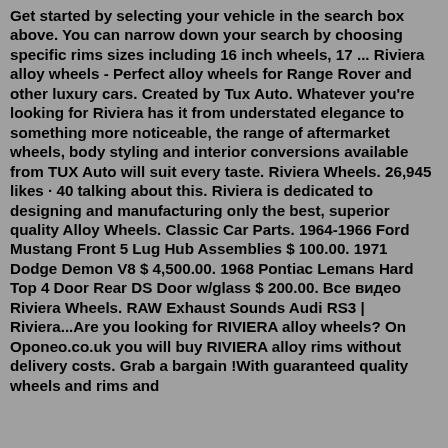Get started by selecting your vehicle in the search box above. You can narrow down your search by choosing specific rims sizes including 16 inch wheels, 17 ... Riviera alloy wheels - Perfect alloy wheels for Range Rover and other luxury cars. Created by Tux Auto. Whatever you're looking for Riviera has it from understated elegance to something more noticeable, the range of aftermarket wheels, body styling and interior conversions available from TUX Auto will suit every taste. Riviera Wheels. 26,945 likes · 40 talking about this. Riviera is dedicated to designing and manufacturing only the best, superior quality Alloy Wheels. Classic Car Parts. 1964-1966 Ford Mustang Front 5 Lug Hub Assemblies $ 100.00. 1971 Dodge Demon V8 $ 4,500.00. 1968 Pontiac Lemans Hard Top 4 Door Rear DS Door w/glass $ 200.00. Все видео Riviera Wheels. RAW Exhaust Sounds Audi RS3 | Riviera...Are you looking for RIVIERA alloy wheels? On Oponeo.co.uk you will buy RIVIERA alloy rims without delivery costs. Grab a bargain !With guaranteed quality wheels and rims and